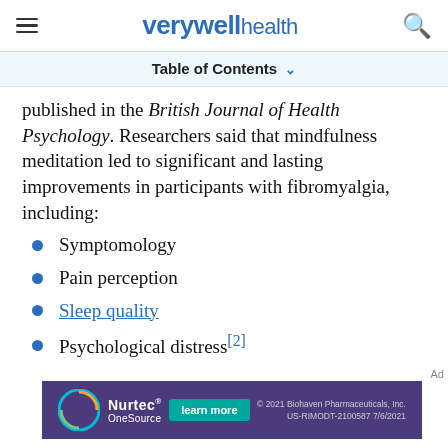verywell health
Table of Contents
published in the British Journal of Health Psychology. Researchers said that mindfulness meditation led to significant and lasting improvements in participants with fibromyalgia, including:
Symptomology
Pain perception
Sleep quality
Psychological distress [2]
[Figure (other): Nurtec OneSource advertisement banner with learn more button and Biohaven Pharmaceuticals copyright notice]